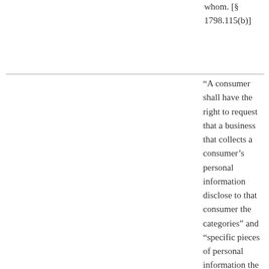whom. [§ 1798.115(b)]
“A consumer shall have the right to request that a business that collects a consumer’s personal information disclose to that consumer the categories” and “specific pieces of personal information the